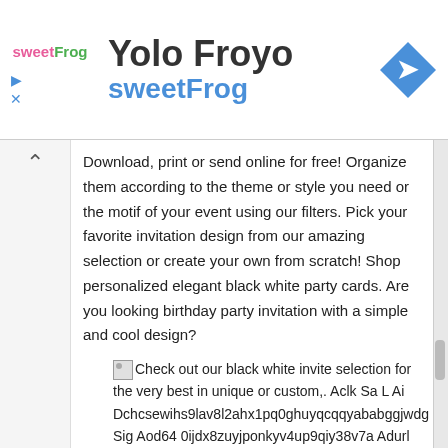[Figure (screenshot): sweetFrog frozen yogurt advertisement banner with logo, title 'Yolo Froyo', subtitle 'sweetFrog', and a blue navigation arrow icon]
Download, print or send online for free! Organize them according to the theme or style you need or the motif of your event using our filters. Pick your favorite invitation design from our amazing selection or create your own from scratch! Shop personalized elegant black white party cards. Are you looking birthday party invitation with a simple and cool design?
Check out our black white invite selection for the very best in unique or custom,. Aclk Sa L Ai Dchcsewihs9lav8l2ahx1pq0ghuyqcqqyababggjwdg Sig Aod64 0ijdx8zuyjponkyv4up9qiy38v7a Adurl Ctype 5
Aclk Sa L Ai Dchcsewihs9lav8l2ahx1pq0ghuyqcqqyababggjwdg Sig Aod64 0ijdx8zuyjponkyv4up9qiy38v7a Adurl Ctype 5 from
Pick your favorite invitation design from our amazing selection or create your own from scratch! Shop personalized elegant